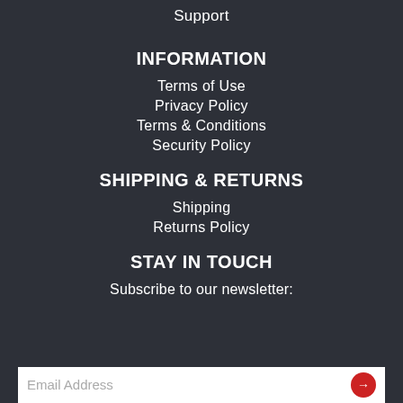Support
INFORMATION
Terms of Use
Privacy Policy
Terms & Conditions
Security Policy
SHIPPING & RETURNS
Shipping
Returns Policy
STAY IN TOUCH
Subscribe to our newsletter:
Email Address